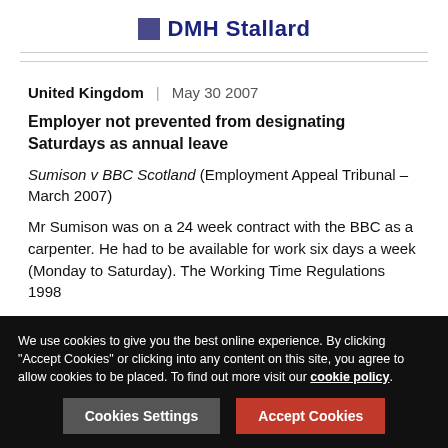[Figure (logo): DMH Stallard logo with blue square icon and bold blue text]
United Kingdom | May 30 2007
Employer not prevented from designating Saturdays as annual leave
Sumison v BBC Scotland (Employment Appeal Tribunal – March 2007)
Mr Sumison was on a 24 week contract with the BBC as a carpenter. He had to be available for work six days a week (Monday to Saturday). The Working Time Regulations 1998
We use cookies to give you the best online experience. By clicking "Accept Cookies" or clicking into any content on this site, you agree to allow cookies to be placed. To find out more visit our cookie policy.